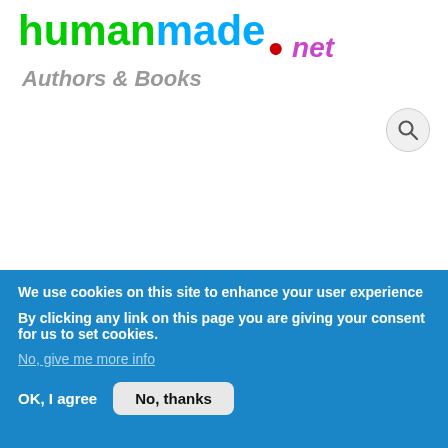[Figure (logo): humanmade.net Authors & Books website logo with green 'human', blue 'made', red dot, pink italic 'net', and grey italic 'Authors & Books' subtitle]
[Figure (other): Search button icon (magnifying glass) in grey circle]
Menu
Home » Books » Fiction » Mystery & Thrillers » The Mountain Man's Dog
The Mountain Man's Dog
We use cookies on this site to enhance your user experience
By clicking any link on this page you are giving your consent for us to set cookies.
No, give me more info
OK, I agree
No, thanks